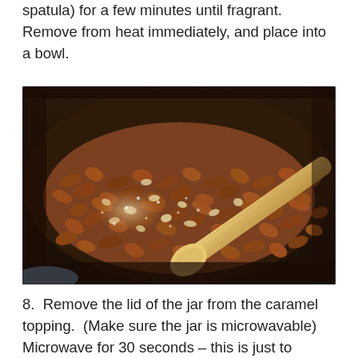spatula) for a few minutes until fragrant.  Remove from heat immediately, and place into a bowl.
[Figure (photo): A dark skillet/pan filled with chopped toasted pecans, with a wooden spoon resting in the pan.]
8.  Remove the lid of the jar from the caramel topping.  (Make sure the jar is microwavable)  Microwave for 30 seconds – this is just to loosen up the caramel and make